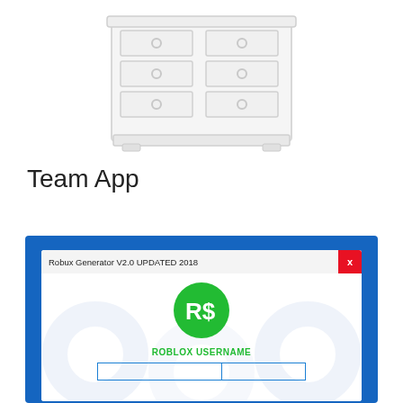[Figure (illustration): A white/light gray chest of drawers (dresser furniture) with multiple drawers and round knobs, rendered in a sketch/icon style on white background]
Team App
[Figure (screenshot): Screenshot of a 'Robux Generator V2.0 UPDATED 2018' application window with a blue border, showing the Roblox R$ logo in green, text 'ROBLOX USERNAME', and a text input field below it]